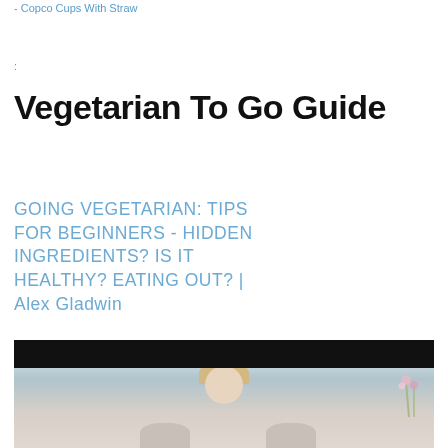- Copco Cups With Straw
:
Vegetarian To Go Guide
GOING VEGETARIAN: TIPS FOR BEGINNERS - HIDDEN INGREDIENTS? IS IT HEALTHY? EATING OUT? | Alex Gladwin
[Figure (photo): A blonde woman sitting indoors with flowers in the background, shown from the shoulders up. A black bar appears at the top of the image (likely a video player UI).]